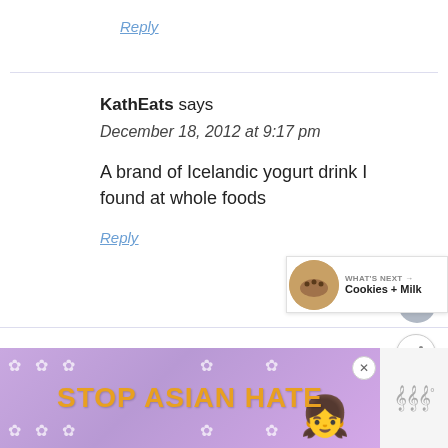Reply
KathEats says
December 18, 2012 at 9:17 pm
A brand of Icelandic yogurt drink I found at whole foods
Reply
[Figure (other): Heart (like) button, circular gray icon]
[Figure (other): Share button, circular white icon with share symbol]
[Figure (other): What's Next widget showing a cookie image and text 'Cookies + Milk']
[Figure (other): Advertisement banner with purple background, flower decorations, text 'STOP ASIAN HATE', anime figure, and close button]
[Figure (other): Right side widget with sound/menu icon and degree symbol]